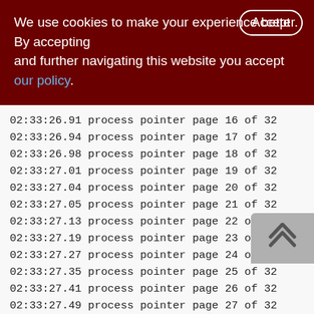We use cookies to make your experience better. By accepting and further navigating this website you accept our policy.
02:33:26.91 process pointer page 16 of 32
02:33:26.94 process pointer page 17 of 32
02:33:26.98 process pointer page 18 of 32
02:33:27.01 process pointer page 19 of 32
02:33:27.04 process pointer page 20 of 32
02:33:27.05 process pointer page 21 of 32
02:33:27.13 process pointer page 22 of 32
02:33:27.19 process pointer page 23 of 32
02:33:27.27 process pointer page 24 of 32
02:33:27.35 process pointer page 25 of 32
02:33:27.41 process pointer page 26 of 32
02:33:27.49 process pointer page 27 of 32